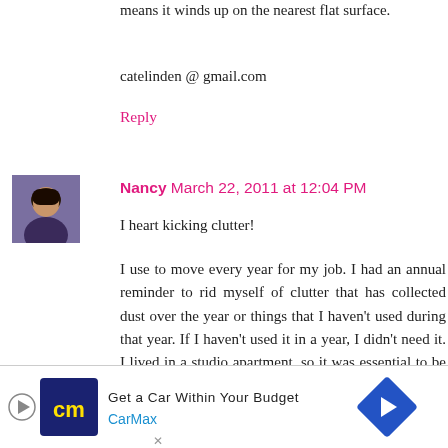means it winds up on the nearest flat surface.
catelinden @ gmail.com
Reply
[Figure (photo): Small avatar photo of commenter Nancy, a woman with dark hair]
Nancy  March 22, 2011 at 12:04 PM
I heart kicking clutter!
I use to move every year for my job. I had an annual reminder to rid myself of clutter that has collected dust over the year or things that I haven't used during that year. If I haven't used it in a year, I didn't need it. I lived in a studio apartment, so it was essential to be clutter-less
Well, now I'm coming up one my 2 year anniversary of living in house. I have never felt so cluttered and accumulated.
[Figure (other): CarMax advertisement banner: Get a Car Within Your Budget, with CarMax logo and navigation arrow icon]